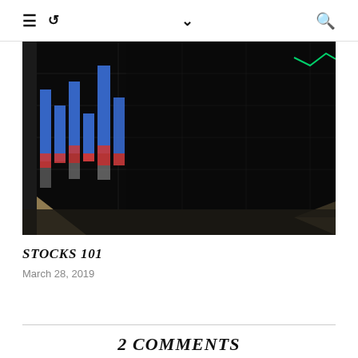≡ ↺  ∨  🔍
[Figure (photo): Close-up photograph of a tablet or monitor screen displaying a stock market chart with blue, red, and gray candlestick/volume bars on a dark background with grid lines, placed on a wooden surface.]
STOCKS 101
March 28, 2019
2 COMMENTS